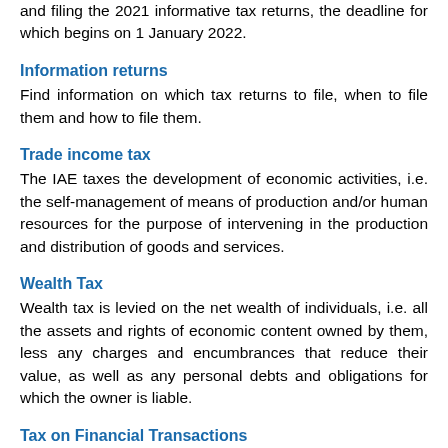and filing the 2021 informative tax returns, the deadline for which begins on 1 January 2022.
Information returns
Find information on which tax returns to file, when to file them and how to file them.
Trade income tax
The IAE taxes the development of economic activities, i.e. the self-management of means of production and/or human resources for the purpose of intervening in the production and distribution of goods and services.
Wealth Tax
Wealth tax is levied on the net wealth of individuals, i.e. all the assets and rights of economic content owned by them, less any charges and encumbrances that reduce their value, as well as any personal debts and obligations for which the owner is liable.
Tax on Financial Transactions
It is an indirect tax on onerous acquisitions of shares in Spanish companies with a market capitalisation of more than 1 billion euros, in the form and under the conditions